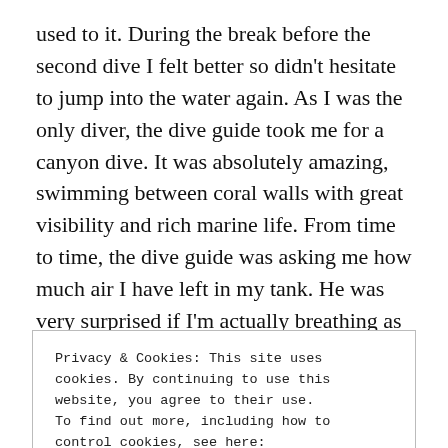used to it. During the break before the second dive I felt better so didn't hesitate to jump into the water again. As I was the only diver, the dive guide took me for a canyon dive. It was absolutely amazing, swimming between coral walls with great visibility and rich marine life. From time to time, the dive guide was asking me how much air I have left in my tank. He was very surprised if I'm actually breathing as my air consumption was so low... haha practice  ;P At some point my dive computer started
Privacy & Cookies: This site uses cookies. By continuing to use this website, you agree to their use.
To find out more, including how to control cookies, see here:
Cookie Policy
Close and accept
came to the safety stop at 5 meters which